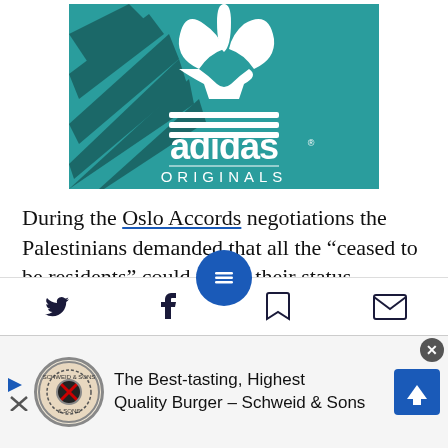[Figure (logo): Adidas Originals logo on teal background with palm leaf shadow]
During the Oslo Accords negotiations the Palestinians demanded that all the “ceased to be residents” could renew their status.
[Figure (screenshot): Mobile app toolbar with Twitter, Facebook, menu (blue circle), bookmark, and email icons]
[Figure (screenshot): Advertisement bar: The Best-tasting, Highest Quality Burger - Schweid & Sons]